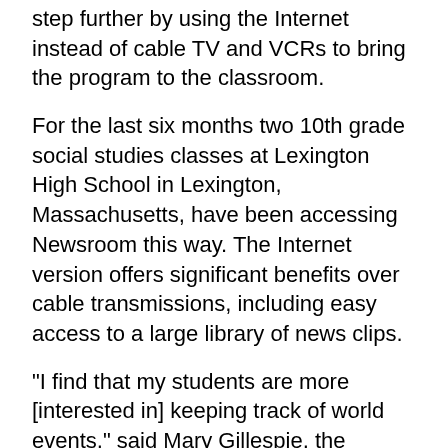technology researchers are taking Newsroom one step further by using the Internet instead of cable TV and VCRs to bring the program to the classroom.
For the last six months two 10th grade social studies classes at Lexington High School in Lexington, Massachusetts, have been accessing Newsroom this way. The Internet version offers significant benefits over cable transmissions, including easy access to a large library of news clips.
"I find that my students are more [interested in] keeping track of world events," said Mary Gillespie, the teacher who is using Internet CNN Newsroom in her classroom. "I see the students turn it on themselves during study hall, [and] follow up on issues talked about in class on their own."